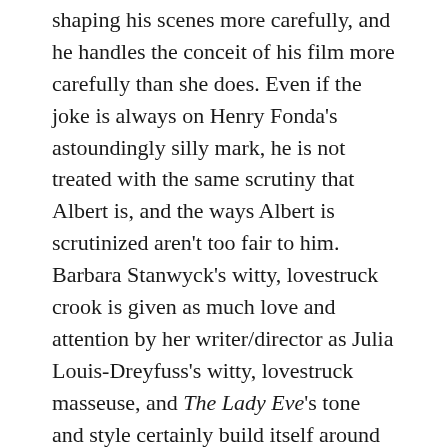shaping his scenes more carefully, and he handles the conceit of his film more carefully than she does. Even if the joke is always on Henry Fonda's astoundingly silly mark, he is not treated with the same scrutiny that Albert is, and the ways Albert is scrutinized aren't too fair to him. Barbara Stanwyck's witty, lovestruck crook is given as much love and attention by her writer/director as Julia Louis-Dreyfuss's witty, lovestruck masseuse, and The Lady Eve's tone and style certainly build itself around the reprehensible things she does, but it's a film that's designed to handle her foibles much better than Enough Said does Eva's.
Ultimately, what we're left with is a pretty decent movie with some pretty obvious potential to